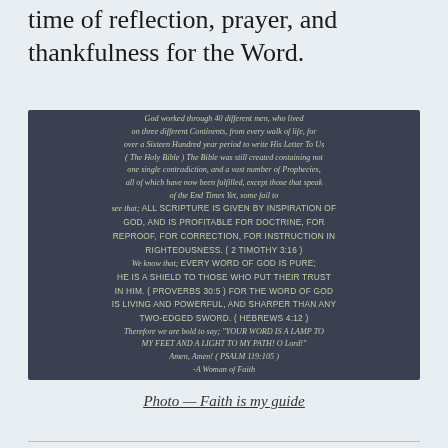time of reflection, prayer, and thankfulness for the Word.
[Figure (photo): Dark chalkboard-style image with handwritten script and uppercase text containing biblical quotes and references including 2 Timothy 3:16, Proverbs 30:5, Hebrews 4:12, and Psalm 119:105, signed 'A Woman of Faith']
Photo — Faith is my guide